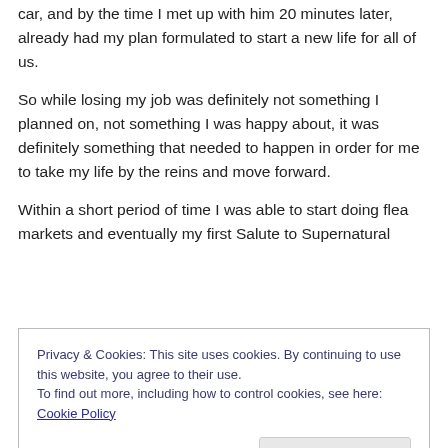car, and by the time I met up with him 20 minutes later, already had my plan formulated to start a new life for all of us.
So while losing my job was definitely not something I planned on, not something I was happy about, it was definitely something that needed to happen in order for me to take my life by the reins and move forward.
Within a short period of time I was able to start doing flea markets and eventually my first Salute to Supernatural
Privacy & Cookies: This site uses cookies. By continuing to use this website, you agree to their use.
To find out more, including how to control cookies, see here: Cookie Policy